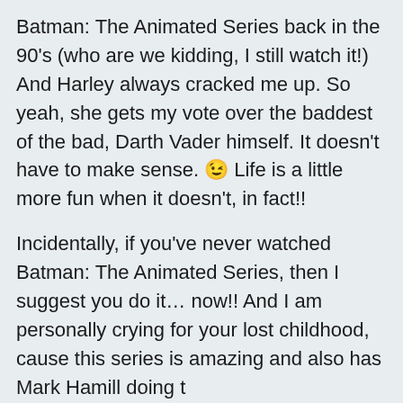Batman: The Animated Series back in the 90's (who are we kidding, I still watch it!) And Harley always cracked me up. So yeah, she gets my vote over the baddest of the bad, Darth Vader himself. It doesn't have to make sense. 😉 Life is a little more fun when it doesn't, in fact!!
Incidentally, if you've never watched Batman: The Animated Series, then I suggest you do it… now!! And I am personally crying for your lost childhood, cause this series is amazing and also has Mark Hamill doing t
Check out what else Wensishop has to offer by heading over to their Etsy shop. Click Here. They have a lot of other adorable pairings. So check them out!
Contest ends next Thursday,  January  15th when we'll